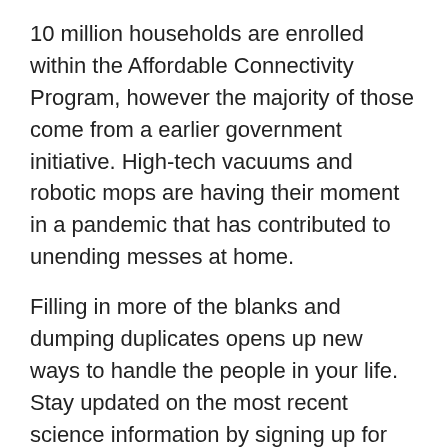10 million households are enrolled within the Affordable Connectivity Program, however the majority of those come from a earlier government initiative. High-tech vacuums and robotic mops are having their moment in a pandemic that has contributed to unending messes at home.
Filling in more of the blanks and dumping duplicates opens up new ways to handle the people in your life. Stay updated on the most recent science information by signing up for our Essentials publication. Bluetooth was impressed by a Nordic king and harnesses the power of radio. How has this wireless connectivity reshaped our digital ecosystems. The zeroth law of thermodynamics states that if two our bodies are every in thermal equilibrium with some third physique, then they're additionally in equilibrium with one another. According to the third law of thermodynamics, the entropy of an ideal crystal is zero when the temperature of the crystal is equal to absolute zero .
These six easy machines are the wheel and axle, the lever, the...